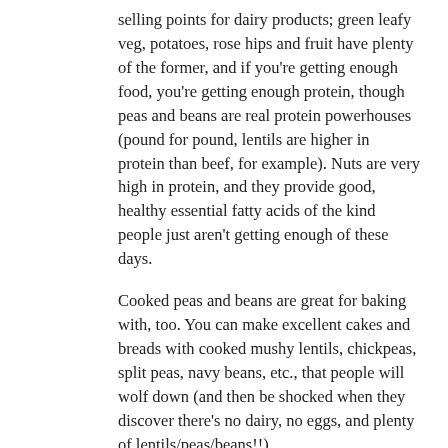selling points for dairy products; green leafy veg, potatoes, rose hips and fruit have plenty of the former, and if you're getting enough food, you're getting enough protein, though peas and beans are real protein powerhouses (pound for pound, lentils are higher in protein than beef, for example). Nuts are very high in protein, and they provide good, healthy essential fatty acids of the kind people just aren't getting enough of these days.
Cooked peas and beans are great for baking with, too. You can make excellent cakes and breads with cooked mushy lentils, chickpeas, split peas, navy beans, etc., that people will wolf down (and then be shocked when they discover there's no dairy, no eggs, and plenty of lentils/peas/beans!!).
So being a vegan wouldn't be hard, provided you had access to at least 5 portions of fresh/dried fruit, green/root veg per day; 3-4 portions cooked grains or bread (preferably wholegrain); 2-3 portions of pulses (1/2 cup = 1 portion), nuts or seeds (2 tbsp = 1 portion) per day; and a little marge and oil per day.